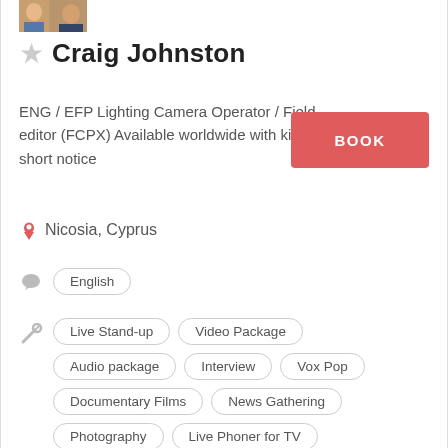[Figure (photo): Profile photo thumbnail of Craig Johnston]
Craig Johnston
ENG / EFP Lighting Camera Operator / Field editor (FCPX) Available worldwide with kit at short notice
BOOK
Nicosia, Cyprus
English
Live Stand-up
Video Package
Audio package
Interview
Vox Pop
Documentary Films
News Gathering
Photography
Live Phoner for TV